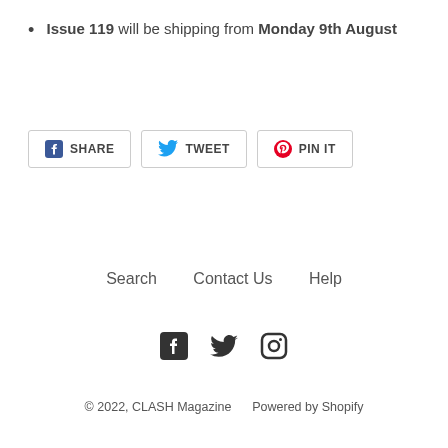Issue 119 will be shipping from Monday 9th August
[Figure (other): Social sharing buttons: Facebook SHARE, Twitter TWEET, Pinterest PIN IT]
Search   Contact Us   Help
[Figure (other): Social media icons: Facebook, Twitter, Instagram]
© 2022, CLASH Magazine    Powered by Shopify